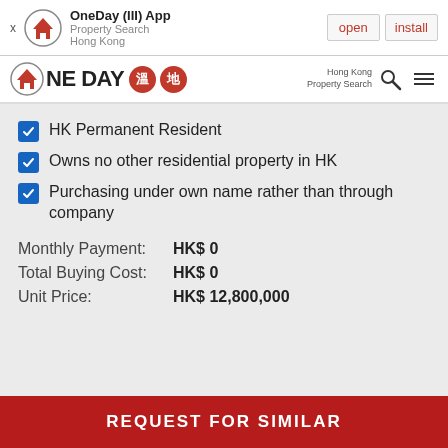[Figure (screenshot): App install banner for OneDay (III) App - Property Search Hong Kong, with open and install buttons]
[Figure (logo): OneDay Property Search Hong Kong logo with house icon and Chinese character badges, plus search and menu icons]
HK Permanent Resident
Owns no other residential property in HK
Purchasing under own name rather than through company
Monthly Payment: HK$ 0
Total Buying Cost: HK$ 0
Unit Price: HK$ 12,800,000
REQUEST FOR SIMILAR